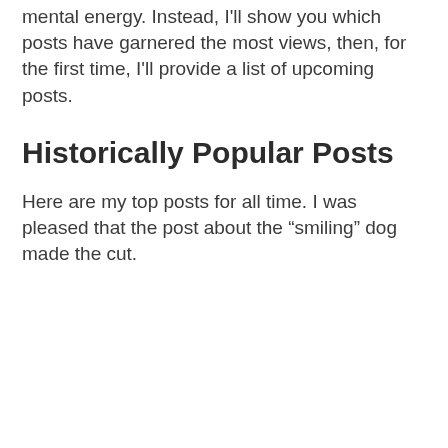mental energy. Instead, I'll show you which posts have garnered the most views, then, for the first time, I'll provide a list of upcoming posts.
Historically Popular Posts
Here are my top posts for all time. I was pleased that the post about the “smiling” dog made the cut.